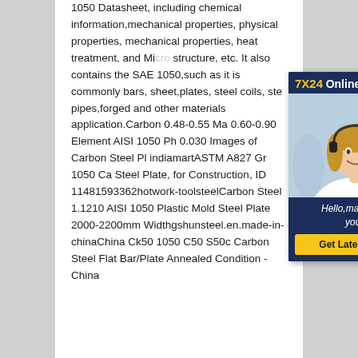1050 Datasheet, including chemical information,mechanical properties, physical properties, mechanical properties, heat treatment, and Micro structure, etc. It also contains the SAE 1050,such as it is commonly bars, sheet,plates, steel coils, ste pipes,forged and other materials application.Carbon 0.48-0.55 Ma 0.60-0.90 Element AISI 1050 Ph 0.030 Images of Carbon Steel Pl indiamartASTM A827 Gr 1050 Ca Steel Plate, for Construction, ID 11481593362hotwork-toolsteelCarbon Steel 1.1210 AISI 1050 Plastic Mold Steel Plate 2000-2200mm Widthgshunsteel.en.made-in-chinaChina Ck50 1050 C50 S50c Carbon Steel Flat Bar/Plate Annealed Condition - China
[Figure (other): 7X24 Online chat widget with a customer service representative photo, greeting 'Hello,may I help you?' and a 'Get Latest Price' button]